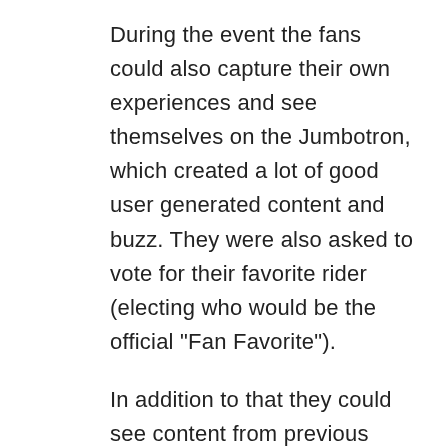During the event the fans could also capture their own experiences and see themselves on the Jumbotron, which created a lot of good user generated content and buzz. They were also asked to vote for their favorite rider (electing who would be the official "Fan Favorite").
In addition to that they could see content from previous Wake Opens, as well as share content over their social networks and follow their favorite riders on FB or Twitter.